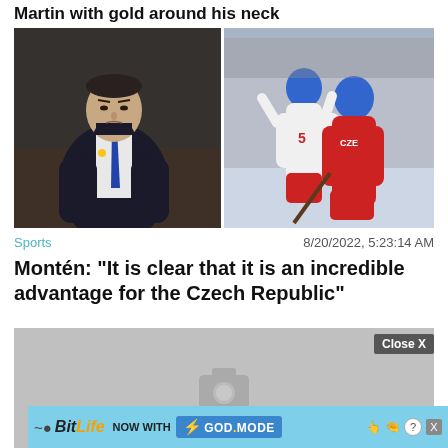Martin with gold around his neck
[Figure (photo): Two hockey photos side by side: left shows a coach in a dark suit with blue tie, right shows Czech Republic hockey players in red jerseys celebrating]
Sports   8/20/2022, 5:23:14 AM
Montén: "It is clear that it is an incredible advantage for the Czech Republic"
[Figure (photo): Advertisement placeholder with camera icon and BitLife ad banner reading: BitLife NOW WITH GOD MODE]
Close X